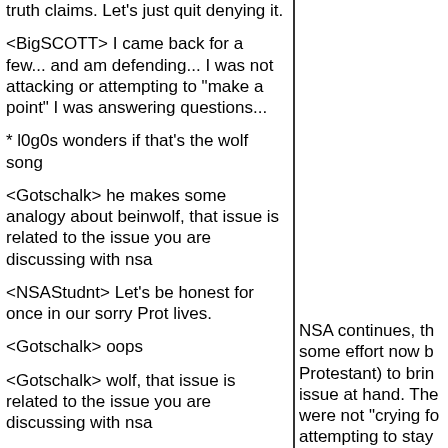truth claims.  Let's just quit denying it.
<BigSCOTT> I came back for a few... and am defending... I was not attacking or attempting to "make a point" I was answering questions...
* l0g0s wonders if that's the wolf song
<Gotschalk> he makes some analogy about beinwolf, that issue is related to the issue you are discussing with nsa
<NSAStudnt> Let's be honest for once in our sorry Prot lives.
<Gotschalk> oops
<Gotschalk> wolf, that issue is related to the issue you are discussing with nsa
<Gotschalk> and scott its good that you were attempting to 'make a point' since you failed pretty badly
* l0g0s has yet to see this "issue"
NSA continues, th some effort now b Protestant) to brin issue at hand. The were not "crying fo attempting to stay
Actually, l0g0s is s about the original complaint about R "crying Foul" is off